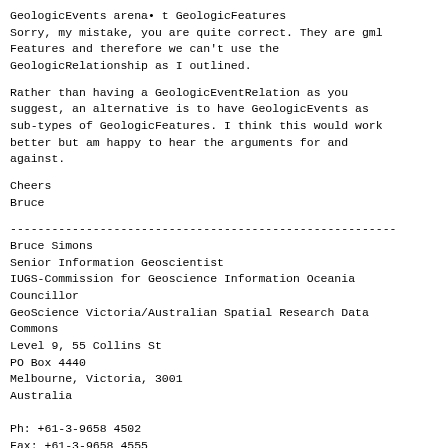GeologicEvents arena• t GeologicFeatures
Sorry, my mistake, you are quite correct. They are gml Features and therefore we can't use the GeologicRelationship as I outlined.
Rather than having a GeologicEventRelation as you suggest, an alternative is to have GeologicEvents as sub-types of GeologicFeatures. I think this would work better but am happy to hear the arguments for and against.
Cheers
Bruce
--------------------------------------------------------
Bruce Simons
Senior Information Geoscientist
IUGS-Commission for Geoscience Information Oceania Councillor
GeoScience Victoria/Australian Spatial Research Data Commons
Level 9, 55 Collins St
PO Box 4440
Melbourne, Victoria, 3001
Australia

Ph: +61-3-9658 4502
Fax: +61-3-9658 4555
Mobile: +61 429 177155